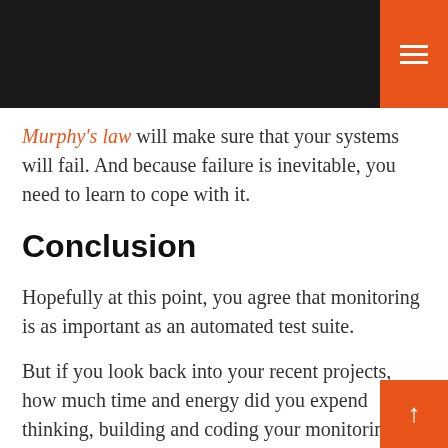Murphy's law will make sure that your systems will fail. And because failure is inevitable, you need to learn to cope with it.
Conclusion
Hopefully at this point, you agree that monitoring is as important as an automated test suite.
But if you look back into your recent projects, how much time and energy did you expend thinking, building and coding your monitoring, versus the time you expend on your tests?
Is it proportional to its importance?